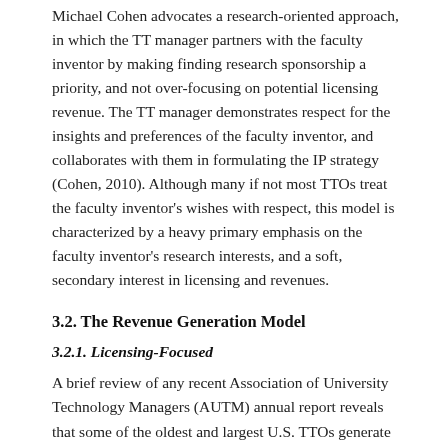Michael Cohen advocates a research-oriented approach, in which the TT manager partners with the faculty inventor by making finding research sponsorship a priority, and not over-focusing on potential licensing revenue. The TT manager demonstrates respect for the insights and preferences of the faculty inventor, and collaborates with them in formulating the IP strategy (Cohen, 2010). Although many if not most TTOs treat the faculty inventor's wishes with respect, this model is characterized by a heavy primary emphasis on the faculty inventor's research interests, and a soft, secondary interest in licensing and revenues.
3.2. The Revenue Generation Model
3.2.1. Licensing-Focused
A brief review of any recent Association of University Technology Managers (AUTM) annual report reveals that some of the oldest and largest U.S. TTOs generate tens, hundreds of millions in licensing income annually.